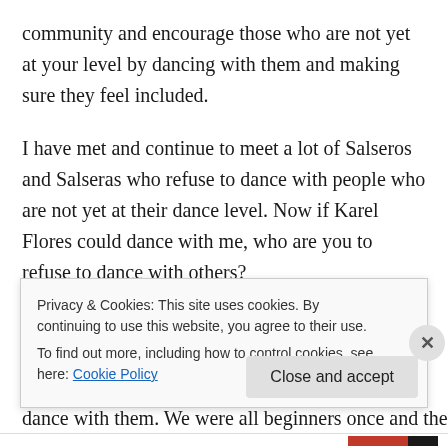community and encourage those who are not yet at your level by dancing with them and making sure they feel included.
I have met and continue to meet a lot of Salseros and Salseras who refuse to dance with people who are not yet at their dance level. Now if Karel Flores could dance with me, who are you to refuse to dance with others?
So next time you are at a party, remember the lesson from Karel. Walk up to all those people you owe a dance and dance with them. We were all beginners once and the only...
Privacy & Cookies: This site uses cookies. By continuing to use this website, you agree to their use.
To find out more, including how to control cookies, see here: Cookie Policy
Close and accept